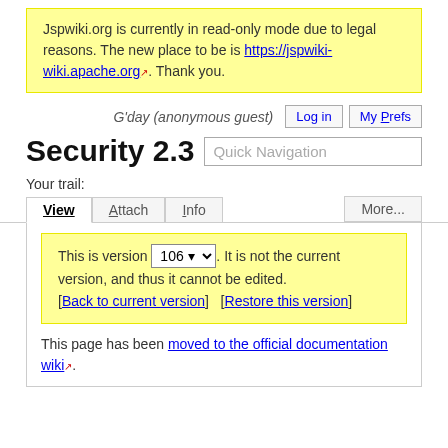Jspwiki.org is currently in read-only mode due to legal reasons. The new place to be is https://jspwiki-wiki.apache.org. Thank you.
G'day (anonymous guest)
Security 2.3
Your trail:
This is version 106. It is not the current version, and thus it cannot be edited. [Back to current version]   [Restore this version]
This page has been moved to the official documentation wiki.